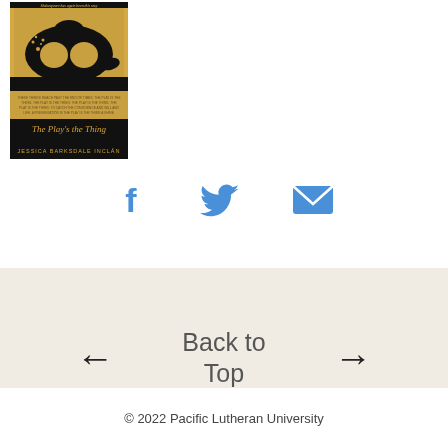[Figure (illustration): Book cover of 'The Play's the Thing' by Jessica Barksdale Inclán, featuring a decorative masquerade mask on a golden background with text 'Shakespeare has never been this sexy']
[Figure (infographic): Social sharing icons: Facebook (f), Twitter (bird), and Email (envelope) in blue]
Back to Top
© 2022 Pacific Lutheran University